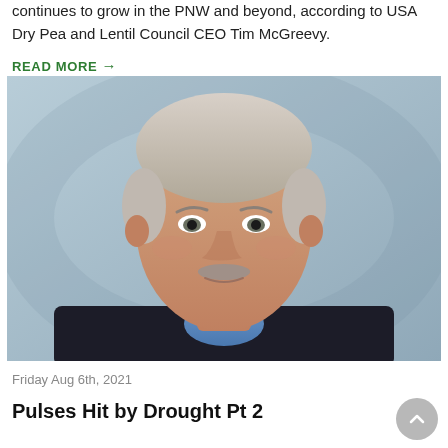continues to grow in the PNW and beyond, according to USA Dry Pea and Lentil Council CEO Tim McGreevy.
READ MORE →
[Figure (photo): Headshot of a middle-aged man with grey hair and a mustache, wearing a blue shirt and dark blazer, against a blue-grey background.]
Friday Aug 6th, 2021
Pulses Hit by Drought Pt 2